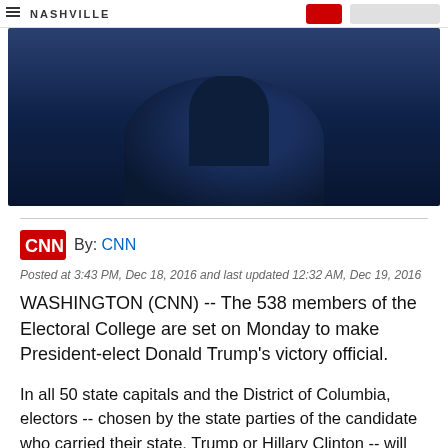[Figure (photo): Dark blue photo banner showing a person on stage, partially cropped. Navigation bar at top with NASHVILLE text and red/gray UI elements.]
By: CNN
Posted at 3:43 PM, Dec 18, 2016 and last updated 12:32 AM, Dec 19, 2016
WASHINGTON (CNN) -- The 538 members of the Electoral College are set on Monday to make President-elect Donald Trump's victory official.
In all 50 state capitals and the District of Columbia, electors -- chosen by the state parties of the candidate who carried their state, Trump or Hillary Clinton -- will meet to cast their ballots. The gatherings will remove the last bit of drama from 2016's